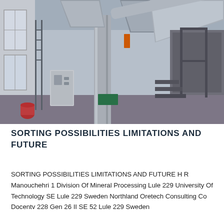[Figure (photo): Interior of an industrial mineral processing facility showing large metallic ductwork, silos, conveyor structures, a control panel cabinet, and steel framework inside a high-ceiling building.]
SORTING POSSIBILITIES LIMITATIONS AND FUTURE
SORTING POSSIBILITIES LIMITATIONS AND FUTURE H R Manouchehri 1 Division Of Mineral Processing Lule 229 University Of Technology SE Lule 229 Sweden Northland Oretech Consulting Co Docentv 228 Gen 26 II SE 52 Lule 229 Sweden